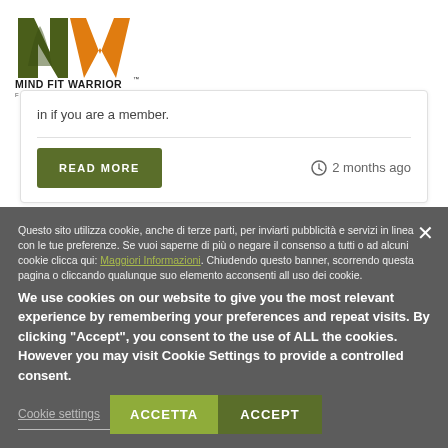[Figure (logo): Mind Fit Warrior logo with stylized MW letters in olive green and orange, with text 'MIND FIT WARRIOR' and 'Functional Integrated Training' below]
in if you are a member.
READ MORE
2 months ago
Questo sito utilizza cookie, anche di terze parti, per inviarti pubblicità e servizi in linea con le tue preferenze. Se vuoi saperne di più o negare il consenso a tutti o ad alcuni cookie clicca qui: Maggiori Informazioni. Chiudendo questo banner, scorrendo questa pagina o cliccando qualunque suo elemento acconsenti all uso dei cookie.
We use cookies on our website to give you the most relevant experience by remembering your preferences and repeat visits. By clicking "Accept", you consent to the use of ALL the cookies. However you may visit Cookie Settings to provide a controlled consent.
Cookie settings
ACCETTA
ACCEPT